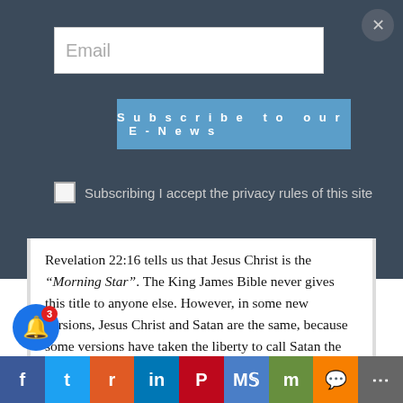[Figure (screenshot): Email input field with placeholder text 'Email']
[Figure (screenshot): Blue subscribe button reading 'Subscribe to our E-News']
Subscribing I accept the privacy rules of this site
Revelation 22:16 tells us that Jesus Christ is the "Morning Star". The King James Bible never gives this title to anyone else. However, in some new versions, Jesus Christ and Satan are the same, because some versions have taken the liberty to call Satan the "morning star" in Isaiah 14:12. Although some versions do not go so far as to call Satan the "morning star," they still throw out the name “Lucifer”.
NIV……. morning star
B… star of the morning
[Figure (screenshot): Social media sharing bar with icons: Facebook, Twitter, Reddit, LinkedIn, Pinterest, MeWe, Mix, WhatsApp, Share]